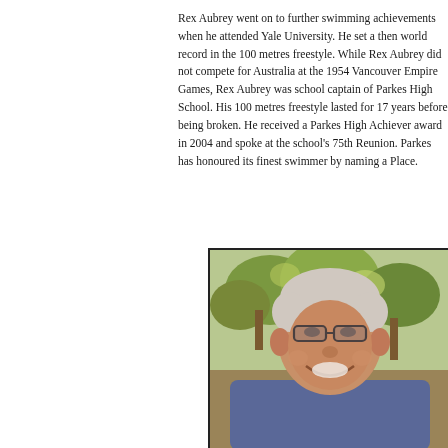Rex Aubrey went on to further swimming achievements when he attended Yale University. He set a then world record in the 100 metres freestyle. While Rex Aubrey did not compete for Australia at the 1954 Vancouver Empire Games, Rex Aubrey was school captain of Parkes High School. His 100 metres freestyle lasted for 17 years before being broken. He received a Parkes High Achiever award in 2004 and spoke at the school's 75th Reunion. Parkes has honoured its finest swimmer by naming a Place.
[Figure (photo): Portrait photograph of an elderly man with white/grey hair, wearing glasses and a blue/purple shirt, smiling broadly outdoors with trees in the background.]